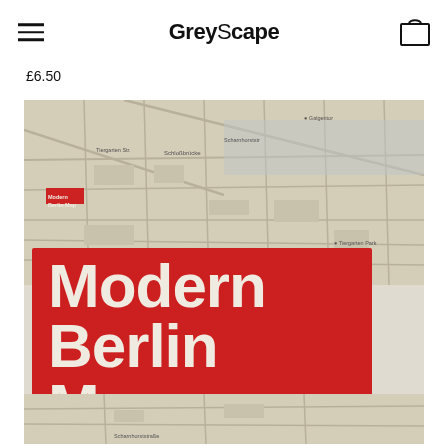GreyScape
£6.50
[Figure (photo): Product photo of 'Modern Berlin Map' published by GreyScape. The image shows a folded map with a bold red cover printed with white sans-serif text reading 'Modern Berlin Map'. The map background (visible at top and bottom) shows a street map of Berlin in beige/tan tones. A small bird logo appears on the bottom-right of the red cover.]